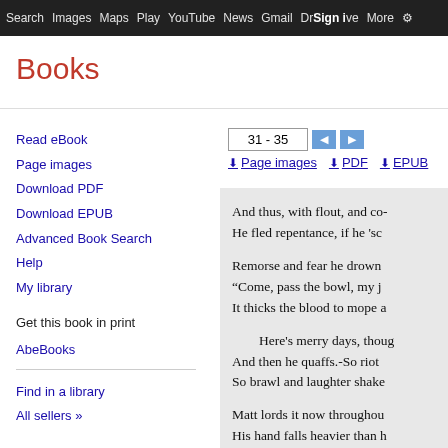Search  Images  Maps  Play  YouTube  News  Gmail  Drive  More  Sign in  ⚙
Books
31 - 35  ◄  ►
Page images   ⬇ PDF   ⬇ EPUB
Read eBook
Page images
Download PDF
Download EPUB
Advanced Book Search
Help
My library
Get this book in print
AbeBooks
Find in a library
All sellers »
And thus, with flout, and co-
He fled repentance, if he 'sc

Remorse and fear he drown
"Come, pass the bowl, my j
It thicks the blood to mope a

   Here's merry days, thoug
And then he quaffs.-So riot
So brawl and laughter shake

Matt lords it now throughou
His hand falls heavier than h
All dread alike his frown or